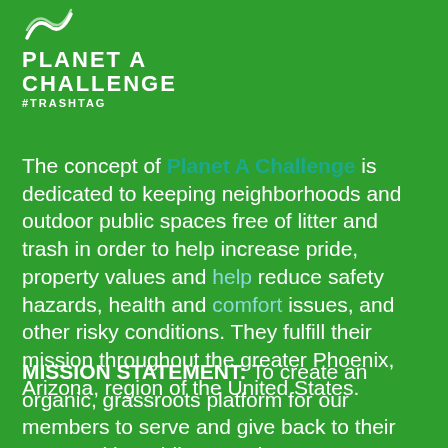[Figure (logo): Planet A Challenge logo with leaf/wave icon, brand name PLANET A CHALLENGE in white uppercase, and #TRASHTAG hashtag below]
The concept of Planet A Challenge is dedicated to keeping neighborhoods and outdoor public spaces free of litter and trash in order to help increase pride, property values and help reduce safety hazards, health and comfort issues, and other risky conditions. They fulfill their mission throughout the greater Phoenix, Arizona, region of the United States.
MISSION STATEMENT: To create an organic, grassroots platform for our members to serve and give back to their communities while engaging